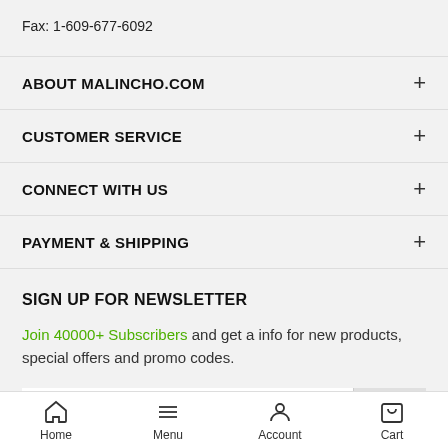Fax: 1-609-677-6092
ABOUT MALINCHO.COM +
CUSTOMER SERVICE +
CONNECT WITH US +
PAYMENT & SHIPPING +
SIGN UP FOR NEWSLETTER
Join 40000+ Subscribers and get a info for new products, special offers and promo codes.
Your email address...
Home  Menu  Account  Cart